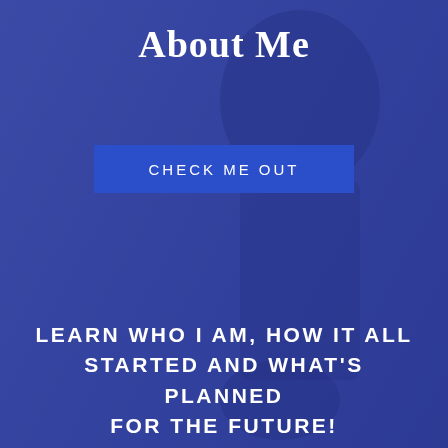About Me
CHECK ME OUT
LEARN WHO I AM, HOW IT ALL STARTED AND WHAT'S PLANNED FOR THE FUTURE!
[Figure (photo): Person sitting at a desk with a MacBook laptop, photographed from the side, with a blue semi-transparent overlay. A second partial photo appears at the bottom with a blue stripe separator.]